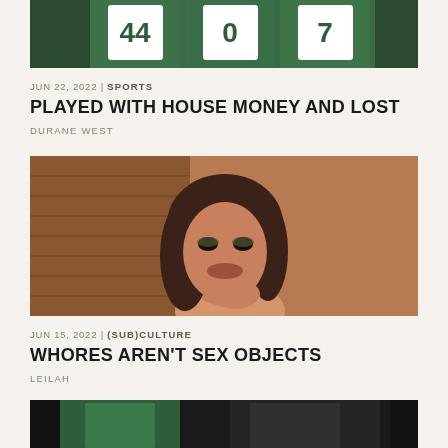[Figure (photo): Partial view of basketball players in green and white Celtics uniforms with numbers 44, 0, and 7]
JUN 22, 2022 | SPORTS
PLAYED WITH HOUSE MONEY AND LOST
DURANE WEST
[Figure (photo): Portrait of a woman with dark hair, wearing earrings, resting her chin on her hand, against a warm brown background]
JUN 15, 2022 | (SUB)CULTURE
WHORES AREN'T SEX OBJECTS
LEILAH
[Figure (photo): Partial view of two men, one in a green Celtics jersey, against a dark background]